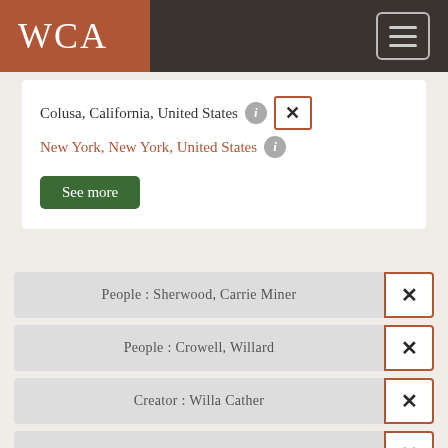WCA
Colusa, California, United States
New York, New York, United States
See more
People : Sherwood, Carrie Miner
People : Crowell, Willard
Creator : Willa Cather
Year : 1945
People : Sherwood, Philip
Places : Colusa, California, United States